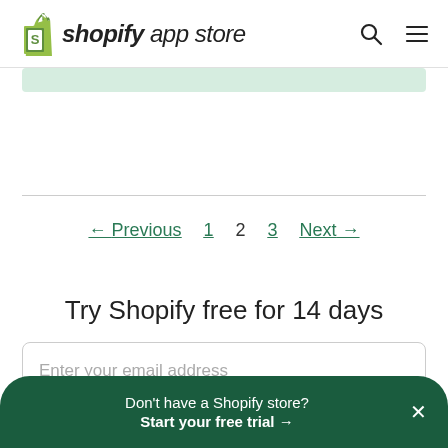shopify app store
← Previous  1  2  3  Next →
Try Shopify free for 14 days
Enter your email address
Don't have a Shopify store? Start your free trial →